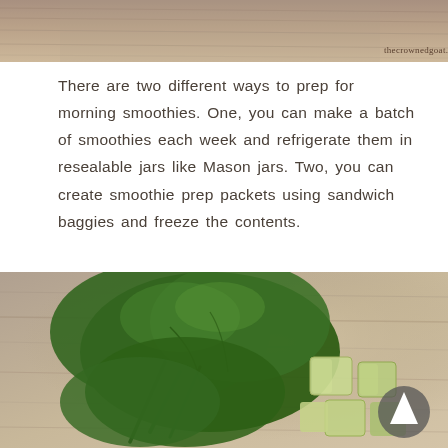[Figure (photo): Top portion of a food blog photo showing a wooden cutting board background with the watermark 'thecrownedgoat.com' in the bottom right corner]
There are two different ways to prep for morning smoothies. One, you can make a batch of smoothies each week and refrigerate them in resealable jars like Mason jars. Two, you can create smoothie prep packets using sandwich baggies and freeze the contents.
[Figure (photo): Photo of fresh spinach leaves and chopped green apple pieces on a wooden cutting board, with a scroll-up arrow button in the bottom right corner]